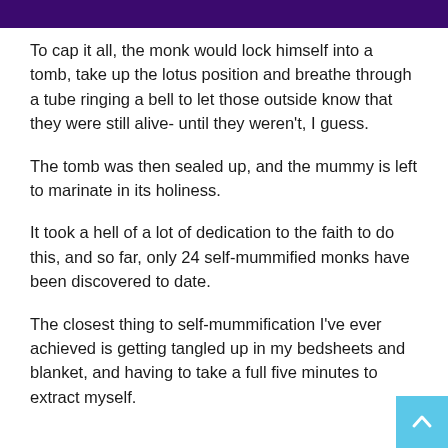To cap it all, the monk would lock himself into a tomb, take up the lotus position and breathe through a tube ringing a bell to let those outside know that they were still alive- until they weren't, I guess.
The tomb was then sealed up, and the mummy is left to marinate in its holiness.
It took a hell of a lot of dedication to the faith to do this, and so far, only 24 self-mummified monks have been discovered to date.
The closest thing to self-mummification I've ever achieved is getting tangled up in my bedsheets and blanket, and having to take a full five minutes to extract myself.